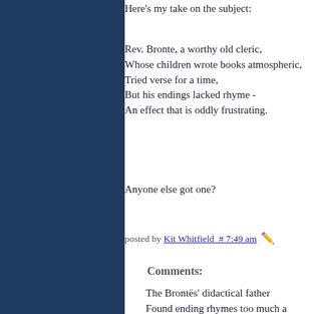Here's my take on the subject:
Rev. Bronte, a worthy old cleric,
Whose children wrote books atmospheric,
Tried verse for a time,
But his endings lacked rhyme -
An effect that is oddly frustrating.
Anyone else got one?
posted by Kit Whitfield  # 7:49 am ✏
Comments:
The Brontës' didactical father
Found ending rhymes too much a bother
He'd start up a verse
But ended up worse